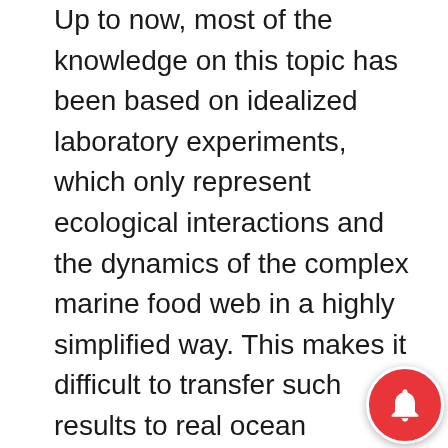Up to now, most of the knowledge on this topic has been based on idealized laboratory experiments, which only represent ecological interactions and the dynamics of the complex marine food web in a highly simplified way. This makes it difficult to transfer such results to real ocean conditions and project them into the future. In order to gain a more realistic insight, the study summarizes several field experiments that were conducted with large-volume test facilities, so-called mesocosms, in different ocean regions, from arctic to subtropical waters.
Mesocosms are, so to speak, oversized test tubes in the ocean, in which changes in environmental conditions in a closed but otherwise natural